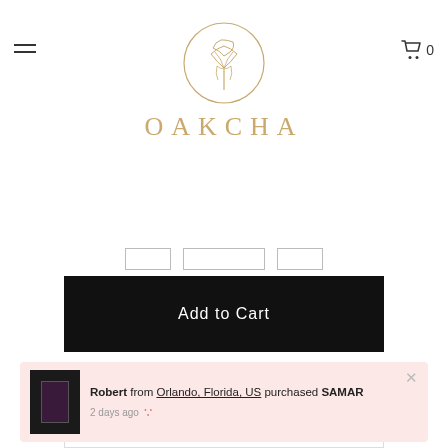[Figure (logo): Oakcha brand logo: circular golden leaf/oak emblem above the text OAKCHA in gold spaced capitals]
[Figure (illustration): Hamburger menu icon (three horizontal lines) on the left side of the header]
[Figure (illustration): Shopping cart icon with 0 count on the right side of the header]
[Figure (illustration): Three quantity/size selector input boxes]
Add to Cart
Limited stock available!  1 person is viewing this.
Details | Shipping & Delivery | Extrait De Parfums | Disclaimer
Gender: Unisex
The island of Samar capsulizes itself bounded by cerulean coasts cloaked in bleached white sands. In
over, becoming a blanket for you, honouring your
Robert from Orlando, Florida, US purchased SAMAR
2 days ago